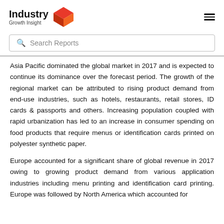Industry Growth Insight
Search Reports
Asia Pacific dominated the global market in 2017 and is expected to continue its dominance over the forecast period. The growth of the regional market can be attributed to rising product demand from end-use industries, such as hotels, restaurants, retail stores, ID cards & passports and others. Increasing population coupled with rapid urbanization has led to an increase in consumer spending on food products that require menus or identification cards printed on polyester synthetic paper.
Europe accounted for a significant share of global revenue in 2017 owing to growing product demand from various application industries including menu printing and identification card printing. Europe was followed by North America which accounted for